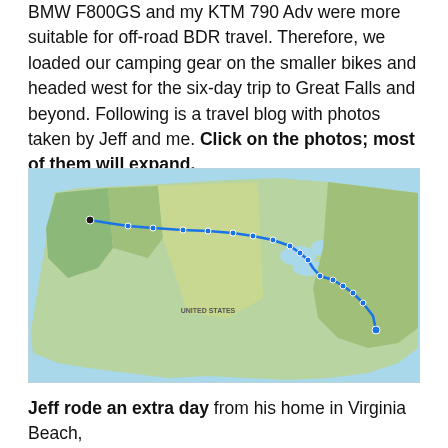BMW F800GS and my KTM 790 Adv were more suitable for off-road BDR travel. Therefore, we loaded our camping gear on the smaller bikes and headed west for the six-day trip to Great Falls and beyond. Following is a travel blog with photos taken by Jeff and me. Click on the photos; most of them will expand.
[Figure (map): A map of the United States showing a route marked with a blue line and circular markers, traveling from the Pacific Northwest (near Washington state) eastward across the northern US through Montana, North Dakota, Minnesota, Wisconsin, Michigan, Ohio, Pennsylvania, and ending on the East Coast near Virginia Beach, Virginia.]
Jeff rode an extra day from his home in Virginia Beach,